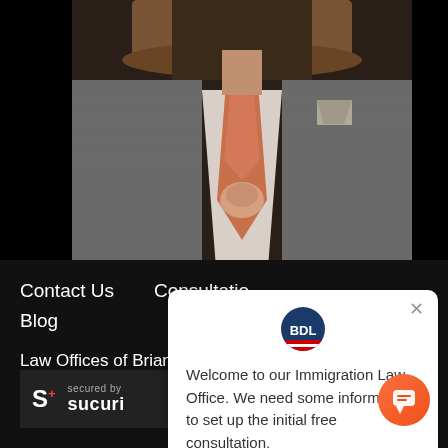[Figure (photo): Person in suit adjusting an orange/salmon tie, face not visible, wearing grey checked jacket with pocket square]
Contact Us   Consultation
Blog
Law Offices of Brian D. Lerner, APC (c) 2022, All Rights reserved
[Figure (logo): Sucuri security badge - S+ logo with 'secured by Sucuri' text on dark background]
[Figure (other): Chat popup with BDL logo icon and text: Welcome to our Immigration Law Office. We need some information to set up the initial free consultation.]
[Figure (other): Orange circular chat button with chat bubble icon]